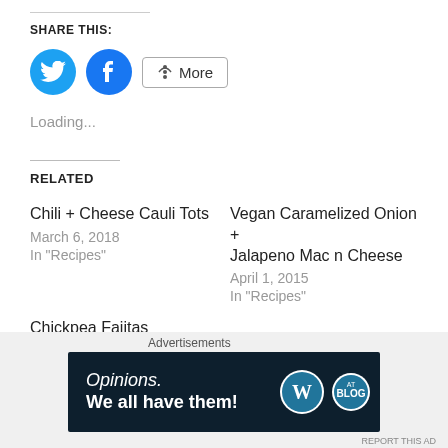SHARE THIS:
[Figure (infographic): Share buttons: Twitter (blue circle with bird icon), Facebook (blue circle with f icon), and a More button with share icon]
Loading...
RELATED
Chili + Cheese Cauli Tots
March 6, 2018
In "Recipes"
Vegan Caramelized Onion + Jalapeno Mac n Cheese
April 1, 2015
In "Recipes"
Chickpea Fajitas
February 15, 2018
Advertisements
[Figure (infographic): WordPress advertisement banner: dark navy background, text reads 'Opinions. We all have them!' with WordPress and Blog logos on the right]